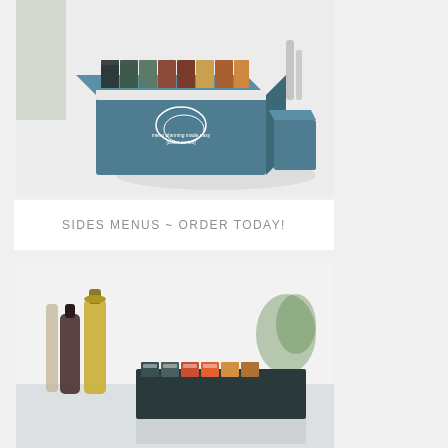[Figure (photo): A teal/blue recipe card box with colorful tabbed recipe cards on top, sitting on a white surface. The box has a logo with text 'menu planning made easy [order series]'. A matching smaller teal box is visible to the right. A blurred figure and kitchen items are in the background.]
SIDES MENUS ~ ORDER TODAY!
[Figure (photo): Close-up of a recipe or menu planning box/card set on a white kitchen counter, with olive oil bottles, a dark bottle, and a blurred green plant in the background. The box shows colorful tabs and labels.]